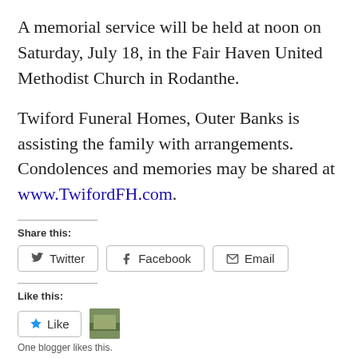A memorial service will be held at noon on Saturday, July 18, in the Fair Haven United Methodist Church in Rodanthe.
Twiford Funeral Homes, Outer Banks is assisting the family with arrangements. Condolences and memories may be shared at www.TwifordFH.com.
Share this:
Twitter
Facebook
Email
Like this:
Like
One blogger likes this.